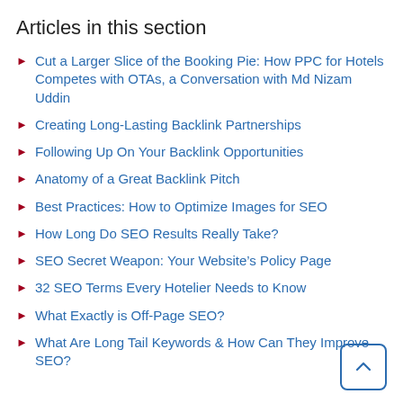Articles in this section
Cut a Larger Slice of the Booking Pie: How PPC for Hotels Competes with OTAs, a Conversation with Md Nizam Uddin
Creating Long-Lasting Backlink Partnerships
Following Up On Your Backlink Opportunities
Anatomy of a Great Backlink Pitch
Best Practices: How to Optimize Images for SEO
How Long Do SEO Results Really Take?
SEO Secret Weapon: Your Website’s Policy Page
32 SEO Terms Every Hotelier Needs to Know
What Exactly is Off-Page SEO?
What Are Long Tail Keywords & How Can They Improve SEO?